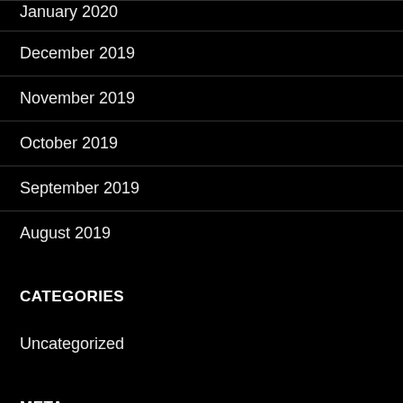January 2020
December 2019
November 2019
October 2019
September 2019
August 2019
CATEGORIES
Uncategorized
META
Log in